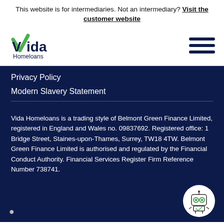This website is for intermediaries. Not an intermediary? Visit the customer website
[Figure (logo): Vida Homeloans logo with green checkmark V and dark blue text]
Privacy Policy
Modern Slavery Statement
Vida Homeloans is a trading style of Belmont Green Finance Limited, registered in England and Wales no. 09837692. Registered office: 1 Bridge Street, Staines-upon-Thames, Surrey, TW18 4TW. Belmont Green Finance Limited is authorised and regulated by the Financial Conduct Authority. Financial Services Register Firm Reference Number 738741.
[Figure (illustration): Robot/chatbot icon in white circle]
Cookie settings icon